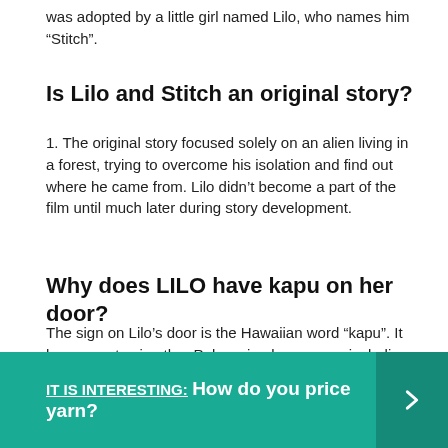was adopted by a little girl named Lilo, who names him “Stitch”.
Is Lilo and Stitch an original story?
1. The original story focused solely on an alien living in a forest, trying to overcome his isolation and find out where he came from. Lilo didn’t become a part of the film until much later during story development.
Why does LILO have kapu on her door?
The sign on Lilo’s door is the Hawaiian word “kapu”. It has cognates in other Polynesian languages, including Fijian “tabu” from which English “taboo” is borrowed. In context, it could be loosely translated as “Keep Out.”
IT IS INTERESTING:  How do you price yarn?